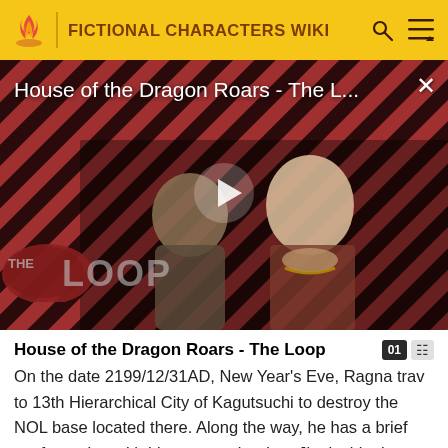FICTIONAL CHARACTERS WIKI
[Figure (screenshot): Video thumbnail for 'House of the Dragon Roars - The L...' showing two characters from House of the Dragon TV show with a diagonal stripe pattern background. A play button triangle is visible in the center. 'THE LOOP' watermark appears in the lower left. A close (X) button is in the upper right.]
House of the Dragon Roars - The Loop
On the date 2199/12/31AD, New Year's Eve, Ragna trav to 13th Hierarchical City of Kagutsuchi to destroy the NOL base located there. Along the way, he has a brief confrontation with his younger brother, Jin, inside the